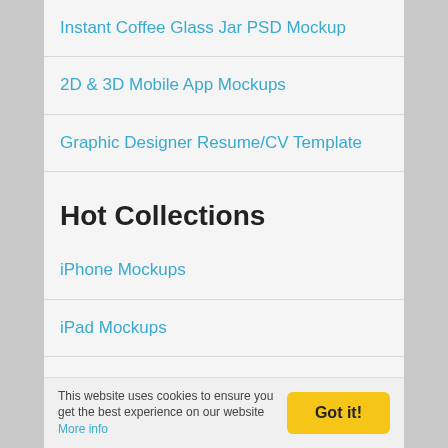Instant Coffee Glass Jar PSD Mockup
2D & 3D Mobile App Mockups
Graphic Designer Resume/CV Template
Hot Collections
iPhone Mockups
iPad Mockups
Business Card Mockups
Landing Page Templates
Poster Mockups
Brush Fonts
This website uses cookies to ensure you get the best experience on our website More info
Got it!